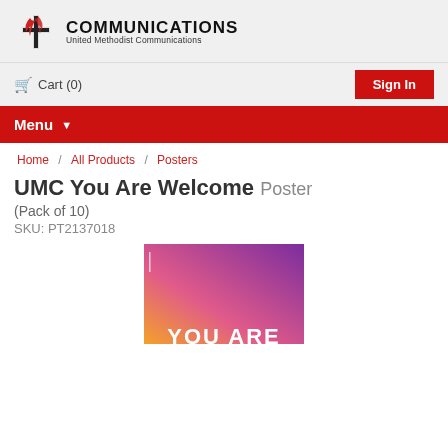[Figure (logo): United Methodist Communications logo with cross and flame icon, COMMUNICATIONS text, and United Methodist Communications subtitle]
Cart (0)
Sign In
Menu
Home / All Products / Posters
UMC You Are Welcome Poster (Pack of 10)
SKU: PT2137018
[Figure (photo): UMC You Are Welcome poster with orange-to-purple gradient background and large white text partially visible at bottom reading YOU ARE]